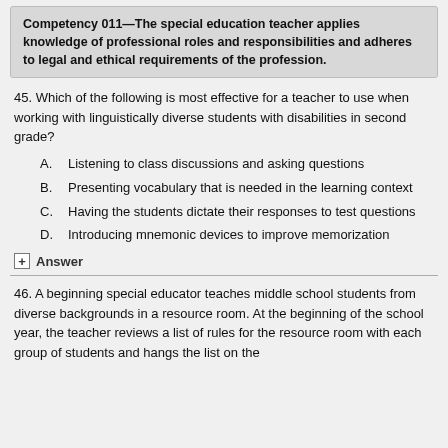Competency 011—The special education teacher applies knowledge of professional roles and responsibilities and adheres to legal and ethical requirements of the profession.
45. Which of the following is most effective for a teacher to use when working with linguistically diverse students with disabilities in second grade?
A. Listening to class discussions and asking questions
B. Presenting vocabulary that is needed in the learning context
C. Having the students dictate their responses to test questions
D. Introducing mnemonic devices to improve memorization
+ Answer
46. A beginning special educator teaches middle school students from diverse backgrounds in a resource room. At the beginning of the school year, the teacher reviews a list of rules for the resource room with each group of students and hangs the list on the